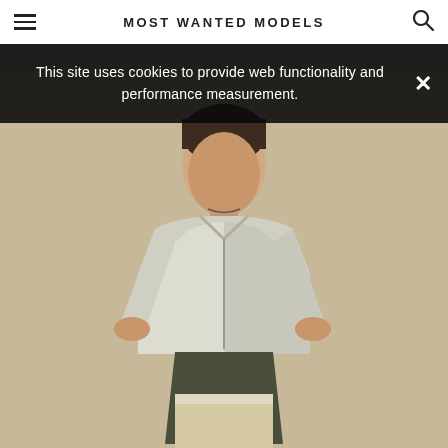MOST WANTED MODELS
This site uses cookies to provide web functionality and performance measurement.
[Figure (photo): Young male model wearing a light beige/silver bomber jacket and dark olive pants, seated on a light wooden block, against a warm beige background. Professional fashion photography.]